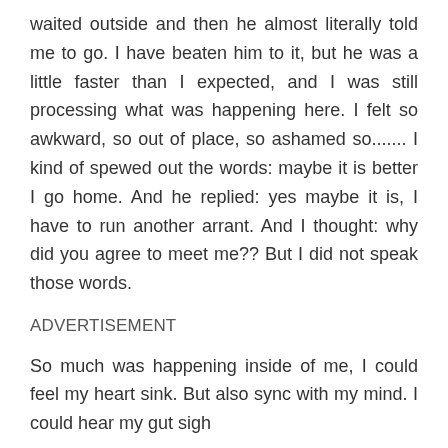waited outside and then he almost literally told me to go. I have beaten him to it, but he was a little faster than I expected, and I was still processing what was happening here. I felt so awkward, so out of place, so ashamed so....... I kind of spewed out the words: maybe it is better I go home. And he replied: yes maybe it is, I have to run another arrant. And I thought: why did you agree to meet me?? But I did not speak those words.
ADVERTISEMENT
So much was happening inside of me, I could feel my heart sink. But also sync with my mind. I could hear my gut sigh